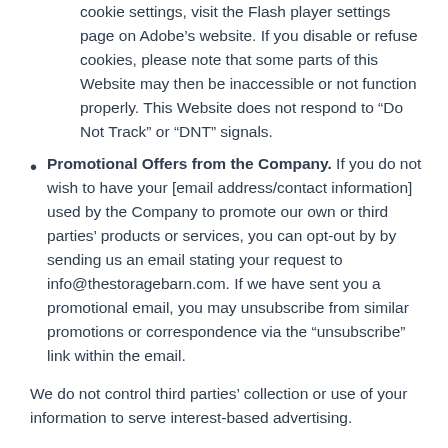cookie settings, visit the Flash player settings page on Adobe's website. If you disable or refuse cookies, please note that some parts of this Website may then be inaccessible or not function properly. This Website does not respond to “Do Not Track” or “DNT” signals.
Promotional Offers from the Company. If you do not wish to have your [email address/contact information] used by the Company to promote our own or third parties’ products or services, you can opt-out by by sending us an email stating your request to info@thestoragebarn.com. If we have sent you a promotional email, you may unsubscribe from similar promotions or correspondence via the “unsubscribe” link within the email.
We do not control third parties’ collection or use of your information to serve interest-based advertising.